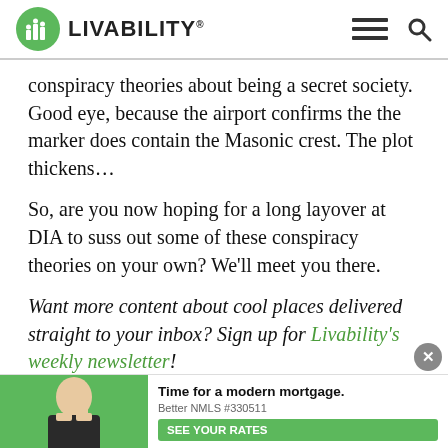LIVABILITY
conspiracy theories about being a secret society. Good eye, because the airport confirms the the marker does contain the Masonic crest. The plot thickens…
So, are you now hoping for a long layover at DIA to suss out some of these conspiracy theories on your own? We'll meet you there.
Want more content about cool places delivered straight to your inbox? Sign up for Livability's weekly newsletter!
Sponsored:
Bu[y...]
Yo[...]
[Figure (other): Advertisement banner: Time for a modern mortgage. Better NMLS #330511. SEE YOUR RATES button. Green background with woman image.]